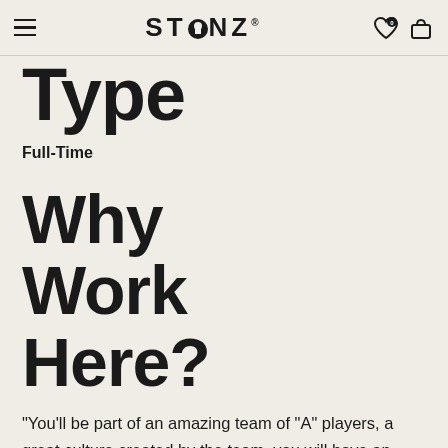STONZ
Type
Full-Time
Why Work Here?
"You'll be part of an amazing team of "A" players, a great culture created by the team, you will have an impact and the opportunity to grow!"